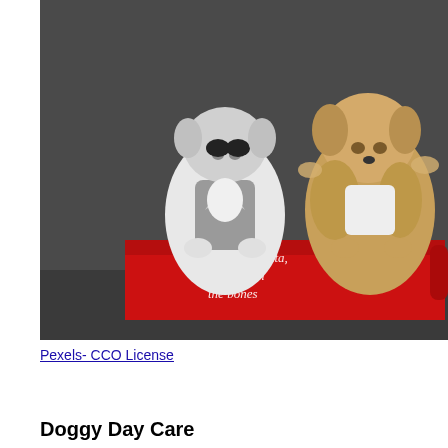[Figure (photo): Two small dogs dressed in costumes sitting inside a red felt basket/bin that reads 'Dear Santa, I want all the bones' with paw print decorations. The dog on the left is wearing a gray suit/tuxedo jacket, the dog on the right is fluffy and tan. Dark gray background.]
Pexels- CCO License
Doggy Day Care